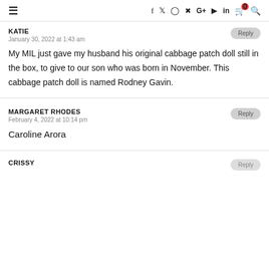≡  f  𝕏  ⓘ  ⓟ  G+  ▶  in  🛒0  🔍
KATIE
January 30, 2022 at 1:43 am
My MIL just gave my husband his original cabbage patch doll still in the box, to give to our son who was born in November. This cabbage patch doll is named Rodney Gavin.
MARGARET RHODES
February 4, 2022 at 10:14 pm
Caroline Arora
CRISSY